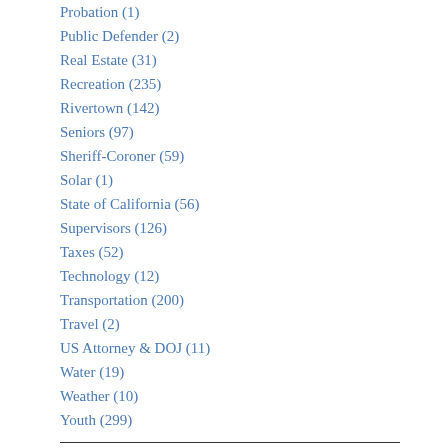Probation (1)
Public Defender (2)
Real Estate (31)
Recreation (235)
Rivertown (142)
Seniors (97)
Sheriff-Coroner (59)
Solar (1)
State of California (56)
Supervisors (126)
Taxes (52)
Technology (12)
Transportation (200)
Travel (2)
US Attorney & DOJ (11)
Water (19)
Weather (10)
Youth (299)
Recent Comments
Antioch Mayor Thorpe admits to private meeting with DA Becton
Well, obviously, Ms. Phinney, so made it an issue. I am the one wh hopefully after my next article is Allen Payton, Publisher
November 5, 2012 at 1:36 pm
Publisher says:
Ms. Phinney,
Thank you for your comment.
The concerns of those who shared the statistician, weren't just about the Ant I don't believe I'm being ridiculous fo information shared with me on the iss Yes, I agree, political parties – and any